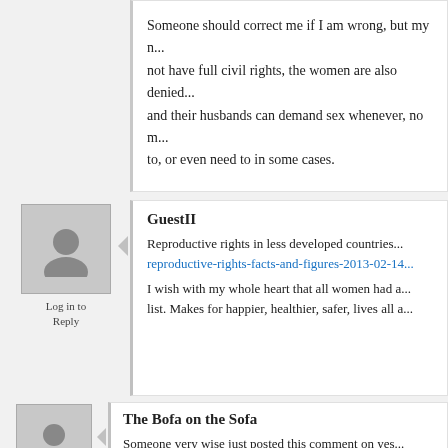Someone should correct me if I am wrong, but my ... not have full civil rights, the women are also denied ... and their husbands can demand sex whenever, no m... to, or even need to in some cases.

In America, that's not really the case, but there are g... viewpoint in which the woman surrenders her bodily ... her own free will, we could say she is exercising her... I'm pretty sure that if they don't like the community n...
GuestII
Reproductive rights in less developed countries... reproductive-rights-facts-and-figures-2013-02-14...
I wish with my whole heart that all women had a... list. Makes for happier, healthier, safer, lives all a...
Log in to Reply
The Bofa on the Sofa
Someone very wise just posted this comment on yes...
“Feminism is manifested in the ability to choose, not...
Log in to Reply